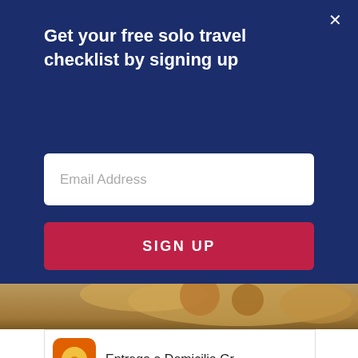Get your free solo travel checklist by signing up
Email Address
SIGN UP
[Figure (screenshot): Partial food photo showing fried food on a plate, partially visible behind modal overlay]
[Figure (screenshot): Google Ad card showing Entrega a Domicilio Gr... with orange logo icon, Pollo Campero listing, Herndon 10AM-10PM with map thumbnail and navigation arrow button]
[Figure (screenshot): Second advertisement showing Firestone auto care store exterior photo, text: Your Complete Care Solution, Firestone, Download >]